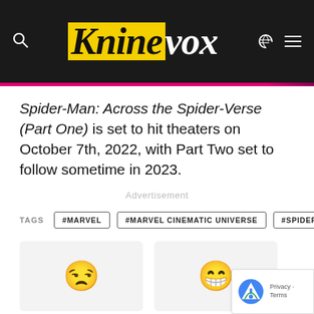Kninevox
Spider-Man: Across the Spider-Verse (Part One) is set to hit theaters on October 7th, 2022, with Part Two set to follow sometime in 2023.
Advertisement
TAGS  #MARVEL  #MARVEL CINEMATIC UNIVERSE  #SPIDERMAN
[Figure (other): Two reaction emoji cards side by side: a skeptical/smirking face emoji and a grinning face emoji, on light grey card backgrounds.]